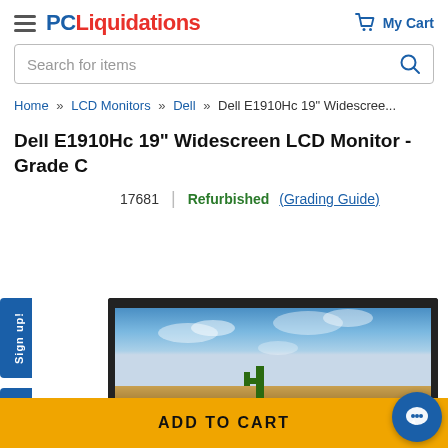PC Liquidations — My Cart
Search for items
Home » LCD Monitors » Dell » Dell E1910Hc 19" Widescree...
Dell E1910Hc 19" Widescreen LCD Monitor - Grade C
17681 | Refurbished (Grading Guide)
[Figure (photo): Dell E1910Hc 19 inch widescreen LCD monitor displaying a landscape with blue sky and desert scenery]
ADD TO CART